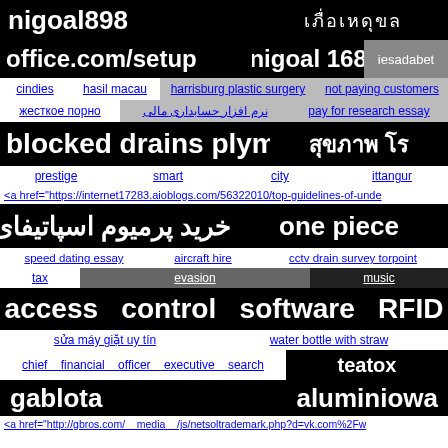nigoal898
office.com/setup  nigoal  168  iesadabet
cindies  hasil macau  harrisburg plastic surgery  not paying customers
жесткое порно  نرم افزار حسابداری مالی  pay for research essay
blocked drains plymouth
prestige  smart  city  ittangur
<a href="https://internet17283.aioblogs.com/56322010/top-guidelines-of-unde
خرید پرمیوم اسپاتیفای  one piece
speed dating essay  aircraft hire  cctv drain survey torpoint
tax  evasion  music
access control software RFID
sửa máy giặt uy tín  water bottle with straw
chief financial officer executive search  teatox
gablota  aluminiowa
<a href="http://gbros.com/__media__/js/netsoltrademark.php?d=vk.com%2Fw
suc khoe  Best Football Prediction Site  sprawdz tutaj
<a href="https://technology.blurtit.com/176862/how-do-you-underscore-in-an-e
<a href="https://ok.ru/profile/411197068370/statuses/154479129340754">"htt
St. Petersburg  cowboy hat styles
agence web guadeloupe guadeloupe  Barrington IL 60011 local SEO
kerrville  texas  feet  to  cm
replica  audemars  piguet